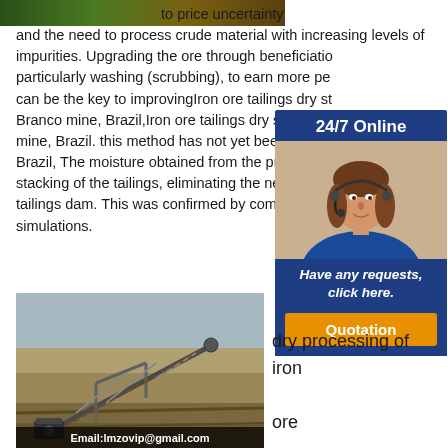[Figure (photo): Top partial image of wood/material, dark tones]
to price uncertainty and the need to process crude material with increasing levels of impurities. Upgrading the ore through beneficiation, particularly washing (scrubbing), to earn more per can be the key to improvingIron ore tailings dry st Branco mine, Brazil,Iron ore tailings dry stacking i mine, Brazil. this method has not yet been used ir Brazil, The moisture obtained from the process gu stacking of the tailings, eliminating the need of the tailings dam. This was confirmed by compaction a simulations.
[Figure (photo): 24/7 Online chat widget with woman wearing headset, blue background, 'Have any requests, click here.' and orange Quotation button]
dry processing of iron ore
[Figure (photo): Mining conveyor/screening machinery in open pit with text overlay Email:lmzovip@gmail.com]